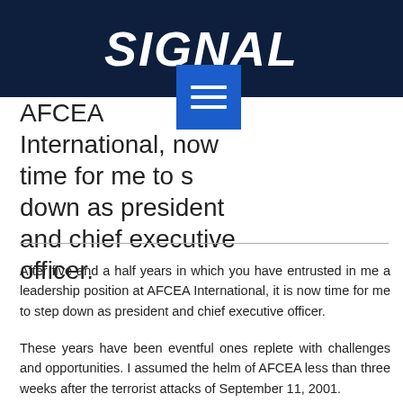SIGNAL
[Figure (other): Blue hamburger menu icon with three horizontal white lines]
AFCEA International, now time for me to step down as president and chief executive officer.
After five and a half years in which you have entrusted in me a leadership position at AFCEA International, it is now time for me to step down as president and chief executive officer.
These years have been eventful ones replete with challenges and opportunities. I assumed the helm of AFCEA less than three weeks after the terrorist attacks of September 11, 2001.